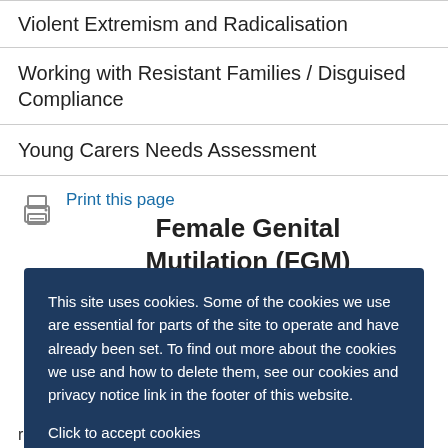Violent Extremism and Radicalisation
Working with Resistant Families / Disguised Compliance
Young Carers Needs Assessment
Print this page
Female Genital Mutilation (FGM)
This site uses cookies. Some of the cookies we use are essential for parts of the site to operate and have already been set. To find out more about the cookies we use and how to delete them, see our cookies and privacy notice link in the footer of this website.

Click to accept cookies
reasons.